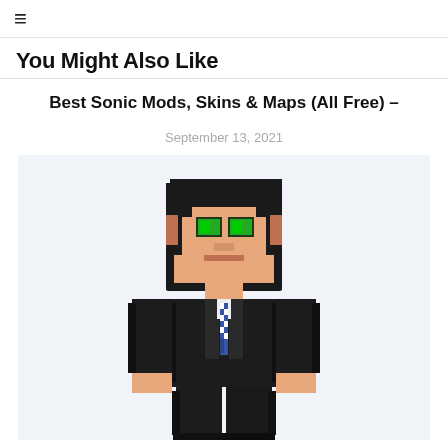≡
You Might Also Like
Best Sonic Mods, Skins & Maps (All Free) –
September 13, 2021
[Figure (illustration): A Minecraft character skin rendered in 3D, wearing a black suit with a blue and white checkered tie, with dark hair, green eyes, and a peach/tan skin tone. The character is shown from a frontal angle on a light blue-grey background.]